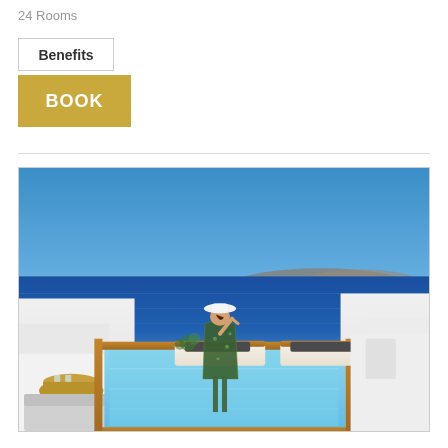24 Rooms
Benefits
BOOK
[Figure (photo): Woman in floral dress and white hat standing on a white terrace overlooking the Aegean Sea in Santorini, Greece. In the foreground is a small infinity-style pool with wooden sunbeds and dark cushions. White Cycladic architecture frames the scene. The caldera and distant volcanic islands are visible on the horizon under a clear blue sky.]